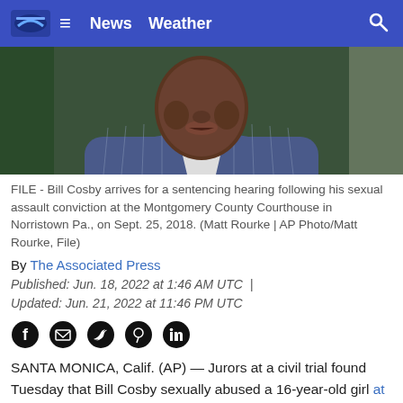News  Weather
[Figure (photo): Close-up of Bill Cosby wearing a blue pinstripe suit jacket, cropped at the face/chest area]
FILE - Bill Cosby arrives for a sentencing hearing following his sexual assault conviction at the Montgomery County Courthouse in Norristown Pa., on Sept. 25, 2018.  (Matt Rourke | AP Photo/Matt Rourke, File)
By The Associated Press
Published: Jun. 18, 2022 at 1:46 AM UTC | Updated: Jun. 21, 2022 at 11:46 PM UTC
[Figure (infographic): Social media share icons: Facebook, Email, Twitter, Pinterest, LinkedIn]
SANTA MONICA, Calif. (AP) — Jurors at a civil trial found Tuesday that Bill Cosby sexually abused a 16-year-old girl at the Playboy Mansion in 1975.
The Los Angeles County jury delivered the verdict in favor